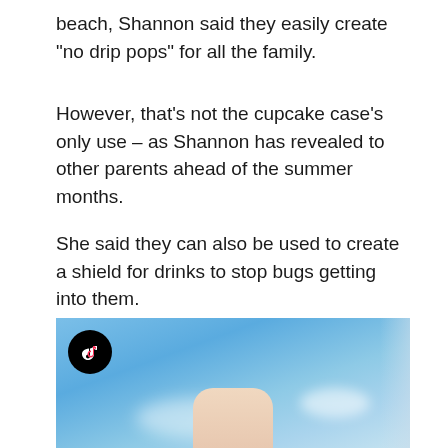beach, Shannon said they easily create “no drip pops” for all the family.
However, that’s not the cupcake case’s only use – as Shannon has revealed to other parents ahead of the summer months.
She said they can also be used to create a shield for drinks to stop bugs getting into them.
[Figure (photo): A photo showing a blue sky with some clouds and a hand visible at the bottom of the frame, with a TikTok logo icon in the top left corner and a faded right edge.]